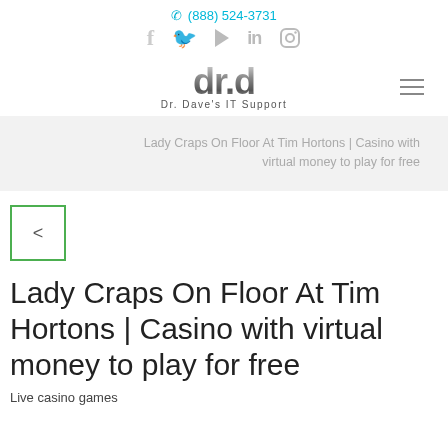✆ (888) 524-3731
[Figure (logo): Dr. Dave's IT Support logo with drd text in metallic style and social media icons]
Lady Craps On Floor At Tim Hortons | Casino with virtual money to play for free
Lady Craps On Floor At Tim Hortons | Casino with virtual money to play for free
Live casino games